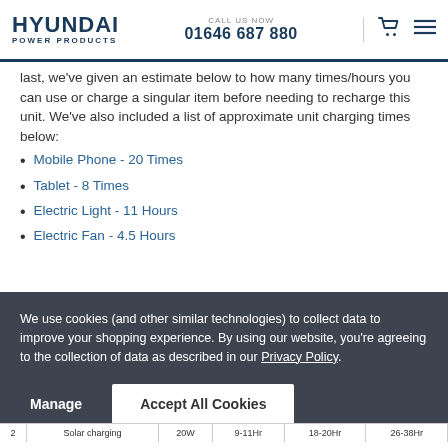HYUNDAI POWER PRODUCTS | CALL US NOW 01646 687 880
last, we've given an estimate below to how many times/hours you can use or charge a singular item before needing to recharge this unit. We've also included a list of approximate unit charging times below:
Mobile Phone - 20 Times
Tablet - 8 Times
Electric Light - 11 Hours
Electric Fan - 4.5 Hours
We use cookies (and other similar technologies) to collect data to improve your shopping experience. By using our website, you're agreeing to the collection of data as described in our Privacy Policy.
|  | Solar charging | 20W | 9-11Hr | 18-20Hr | 26-38Hr |
| --- | --- | --- | --- | --- | --- |
| 2 | Solar charging | 20W | 9-11Hr | 18-20Hr | 26-38Hr |